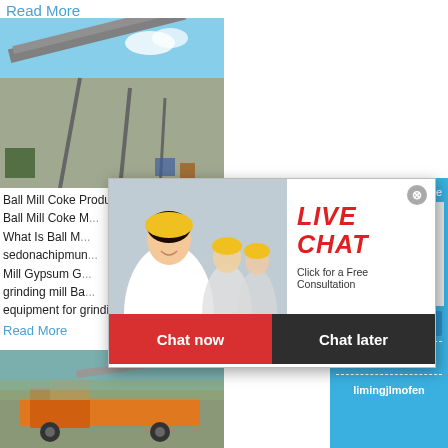Read More
[Figure (photo): Industrial conveyor belt structure / screening plant on construction site with blue sky background]
Ball Mill Coke Production...achiclocgl
Ball Mill Coke M...
What Is Ball M...
sedonachipmun...
Mill Gypsum G...
grinding mill Ba...
equipment for grinding materials into fine p...
Read More
[Figure (photo): Orange mobile crushing/screening machinery on rocky terrain]
[Figure (photo): Live Chat popup overlay with woman in hard hat, LIVE CHAT heading, Chat now and Chat later buttons, and close button]
[Figure (screenshot): Right sidebar with blue background showing hour online text, industrial cone crusher image, Click me to chat>> button, Enquiry section, and limingjlmofen text]